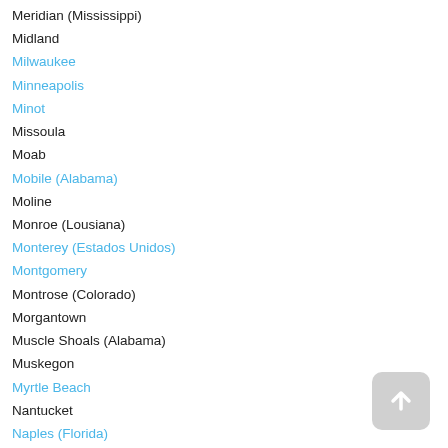Meridian (Mississippi)
Midland
Milwaukee
Minneapolis
Minot
Missoula
Moab
Mobile (Alabama)
Moline
Monroe (Lousiana)
Monterey (Estados Unidos)
Montgomery
Montrose (Colorado)
Morgantown
Muscle Shoals (Alabama)
Muskegon
Myrtle Beach
Nantucket
Naples (Florida)